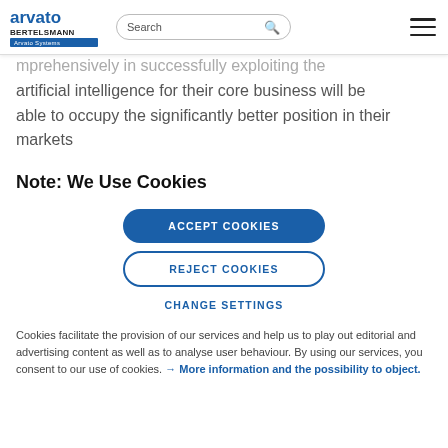arvato BERTELSMANN Arvato Systems | Search | [hamburger menu]
mprehensively in successfully exploiting the artificial intelligence for their core business will be able to occupy the significantly better position in their markets
Note: We Use Cookies
ACCEPT COOKIES
REJECT COOKIES
CHANGE SETTINGS
Cookies facilitate the provision of our services and help us to play out editorial and advertising content as well as to analyse user behaviour. By using our services, you consent to our use of cookies. → More information and the possibility to object.